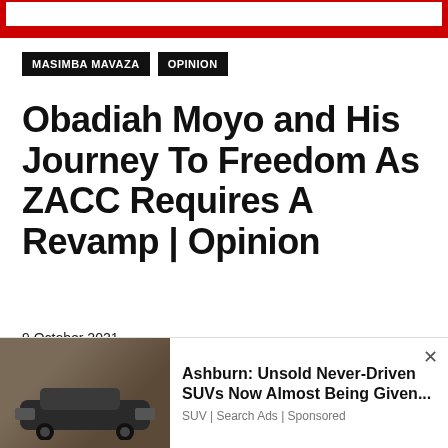MASIMBA MAVAZA   OPINION
Obadiah Moyo and His Journey To Freedom As ZACC Requires A Revamp | Opinion
9 October 2021
Spread the love
[Figure (other): Social media share icons: Facebook, Twitter, LinkedIn, Pinterest, Reddit, WWW, Tumblr, WhatsApp, Plus]
[Figure (photo): Advertisement: Ashburn: Unsold Never-Driven SUVs Now Almost Being Given... SUV | Search Ads | Sponsored — with an image of a dark SUV car]